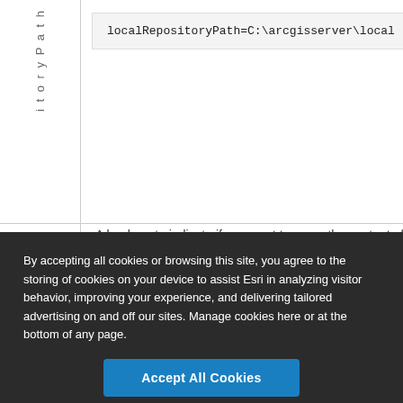| Parameter | Value/Description |
| --- | --- |
| i t o r y P a t h | localRepositoryPath=C:\arcgisserver\local |
|  | A boolean to indicate if you want to move the content of th |
By accepting all cookies or browsing this site, you agree to the storing of cookies on your device to assist Esri in analyzing visitor behavior, improving your experience, and delivering tailored advertising on and off our sites. Manage cookies here or at the bottom of any page.